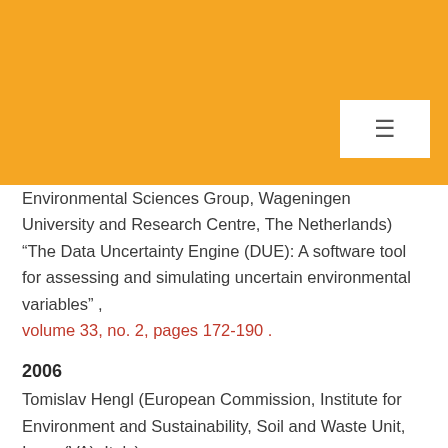[Figure (other): Orange/amber header banner background covering top portion of page]
Environmental Sciences Group, Wageningen University and Research Centre, The Netherlands) “The Data Uncertainty Engine (DUE): A software tool for assessing and simulating uncertain environmental variables” , volume 33, no. 2, pages 172-190 .
2006
Tomislav Hengl (European Commission, Institute for Environment and Sustainability, Soil and Waste Unit, Ispra (VA), Italy) “Choosing the right pixel size”,